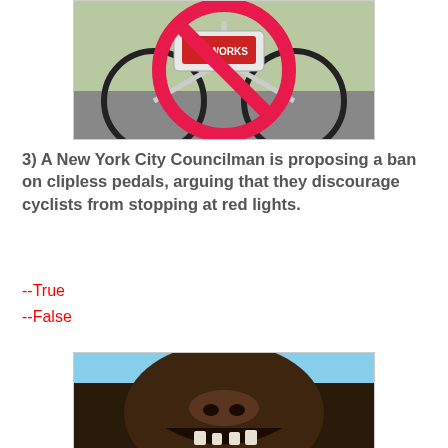[Figure (photo): Photo of a bicycle with clipless pedals (S-Works brand), overlaid with a red prohibition circle-and-slash symbol indicating a ban.]
3) A New York City Councilman is proposing a ban on clipless pedals, arguing that they discourage cyclists from stopping at red lights.
--True
--False
[Figure (photo): Close-up photo of an animal (appears to be a large animal like a bear or dog) looking downward at the camera, with mouth open, against a blue sky background.]